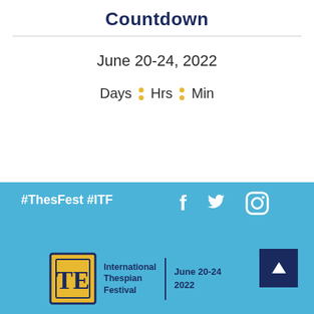Countdown
June 20-24, 2022
Days • Hrs • Min
#ThesFest #ITF
[Figure (logo): International Thespian Festival logo with text 'International Thespian Festival' and date 'June 20-24 2022']
[Figure (other): Social media icons: Facebook, Twitter, Instagram in white on blue background]
[Figure (other): Scroll to top button: dark navy square with white upward arrow]